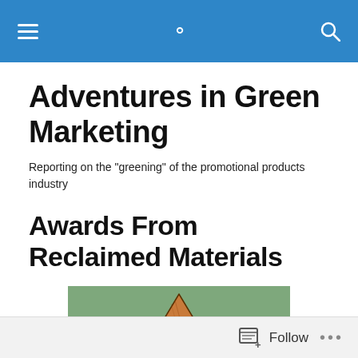Adventures in Green Marketing — navigation bar
Adventures in Green Marketing
Reporting on the "greening" of the promotional products industry
Awards From Reclaimed Materials
[Figure (photo): Recycling symbol made from reclaimed wood pieces on a sage green background]
Follow  ...